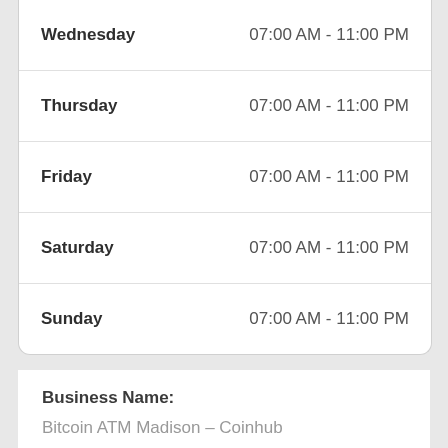| Day | Hours |
| --- | --- |
| Wednesday | 07:00 AM - 11:00 PM |
| Thursday | 07:00 AM - 11:00 PM |
| Friday | 07:00 AM - 11:00 PM |
| Saturday | 07:00 AM - 11:00 PM |
| Sunday | 07:00 AM - 11:00 PM |
Business Name:
Bitcoin ATM Madison – Coinhub
Address: